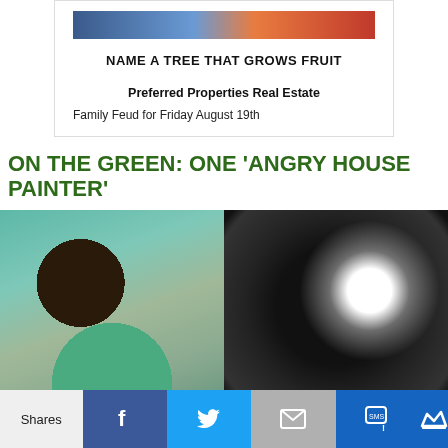[Figure (screenshot): Embedded content card with Family Feud game show screenshot at top, bold question text 'NAME A TREE THAT GROWS FRUIT', sponsor name 'Preferred Properties Real Estate', and subtitle 'Family Feud for Friday August 19th']
ON THE GREEN: ONE 'ANGRY HOUSE PAINTER'
[Figure (photo): Two side-by-side photos: left shows a textured teal/green painting with a dark brown circle; right shows a black background with an exploding white sphere and spiky white shapes]
Shares | Facebook | Twitter | Mail | SMS | Crown